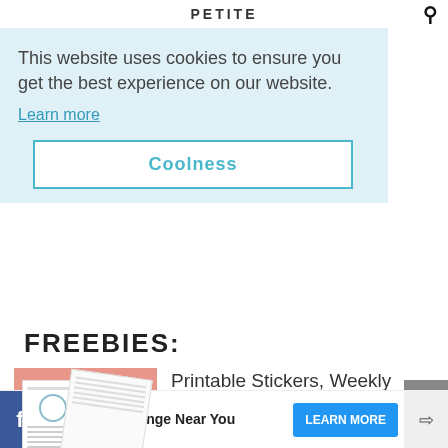PETITE
This website uses cookies to ensure you get the best experience on our website.
Learn more
Coolness
FREEBIES:
[Figure (photo): Printable journal pages and sticker sheets spread on a pink/salmon background]
Printable Stickers, Weekly Layouts, Full Journal Printables, Habit Trackers, and MORE
Firestone
Get An Oil Change Near You
LEARN MORE